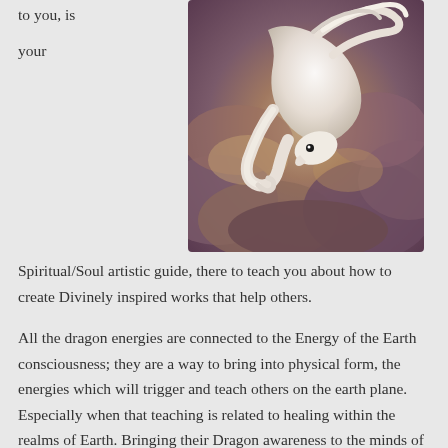to you, is your
[Figure (illustration): A white dragon with flowing mane flying through purple and brown clouds, painted in a fantasy art style.]
Spiritual/Soul artistic guide, there to teach you about how to create Divinely inspired works that help others.
All the dragon energies are connected to the Energy of the Earth consciousness; they are a way to bring into physical form, the energies which will trigger and teach others on the earth plane. Especially when that teaching is related to healing within the realms of Earth. Bringing their Dragon awareness to the minds of Humanity is their task.
Healing art, healing words, healing music, all are the domain